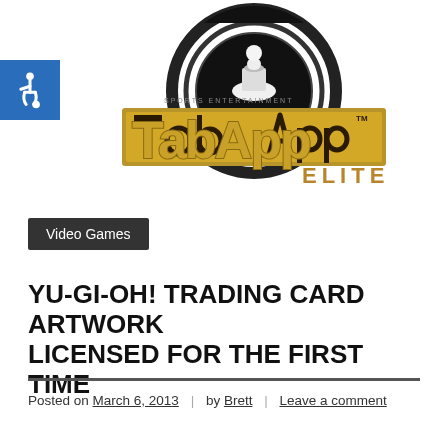[Figure (logo): TabApp Elite logo with gold lettering and circular game controller design, on white background. Accessibility wheelchair icon in blue square top-left.]
Video Games
YU-GI-OH! TRADING CARD ARTWORK LICENSED FOR THE FIRST TIME
Posted on March 6, 2013 | by Brett | Leave a comment